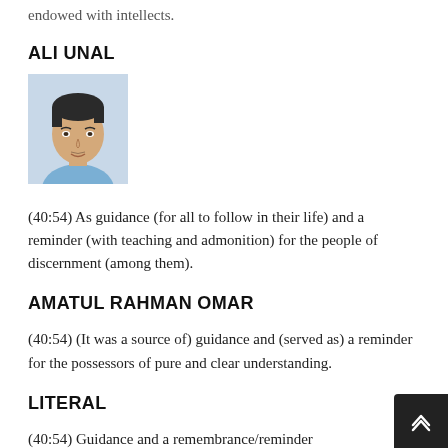endowed with intellects.
ALI UNAL
[Figure (photo): Portrait photo of a middle-aged man with dark hair wearing a light blue shirt, on a light grey background]
(40:54) As guidance (for all to follow in their life) and a reminder (with teaching and admonition) for the people of discernment (among them).
AMATUL RAHMAN OMAR
(40:54) (It was a source of) guidance and (served as) a reminder for the possessors of pure and clear understanding.
LITERAL
(40:54) Guidance and a remembrance/reminder